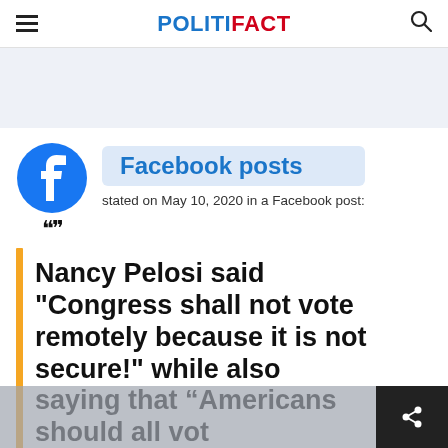POLITIFACT
[Figure (logo): Facebook circular logo icon (blue with white 'f')]
Facebook posts
stated on May 10, 2020 in a Facebook post:
Nancy Pelosi said "Congress shall not vote remotely because it is not secure!" while also saying that “Americans should all vote for president by mail!”